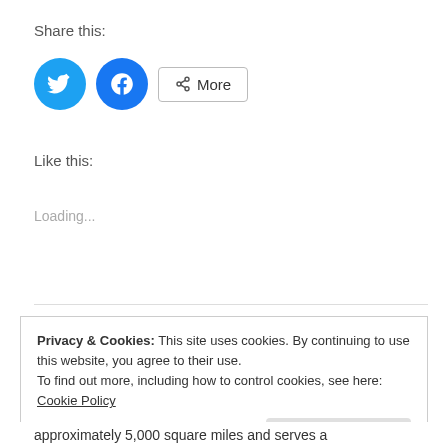Share this:
[Figure (other): Social share buttons: Twitter (blue circle with bird icon), Facebook (blue circle with f icon), and a More button with share icon]
Like this:
Loading...
Privacy & Cookies: This site uses cookies. By continuing to use this website, you agree to their use. To find out more, including how to control cookies, see here: Cookie Policy
approximately 5,000 square miles and serves a